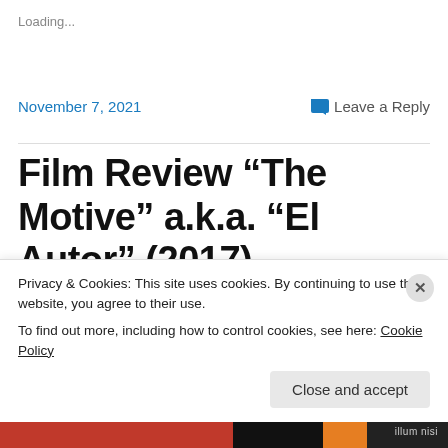Loading...
November 7, 2021
Leave a Reply
Film Review “The Motive” a.k.a. “El Autor” (2017) #150WordReview #NetflixReviews
Privacy & Cookies: This site uses cookies. By continuing to use this website, you agree to their use.
To find out more, including how to control cookies, see here: Cookie Policy
Close and accept